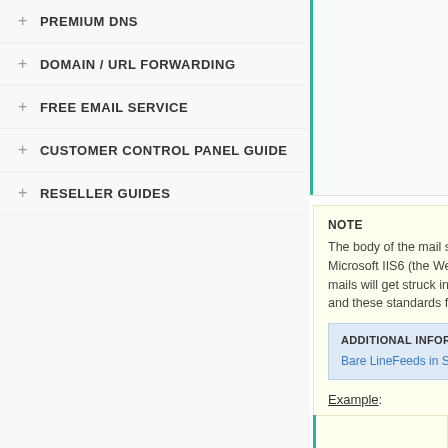+ PREMIUM DNS
+ DOMAIN / URL FORWARDING
+ FREE EMAIL SERVICE
+ CUSTOMER CONTROL PANEL GUIDE
+ RESELLER GUIDES
%
NOTE
The body of the mail sh... Microsoft IIS6 (the Web... mails will get struck in t... and these standards fo...
ADDITIONAL INFORMATI...
Bare LineFeeds in SMT...
Example: